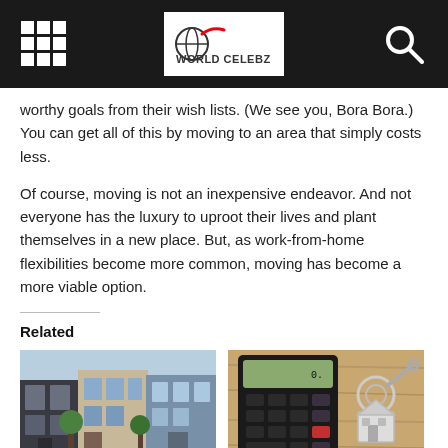World Celebz
worthy goals from their wish lists. (We see you, Bora Bora.) You can get all of this by moving to an area that simply costs less.
Of course, moving is not an inexpensive endeavor. And not everyone has the luxury to uproot their lives and plant themselves in a new place. But, as work-from-home flexibilities become more common, moving has become a more viable option.
Related
[Figure (photo): Row of Victorian-style townhouses with ornate facades in dark and light colors.]
[Figure (photo): Calculator with house keychain on a wooden surface.]